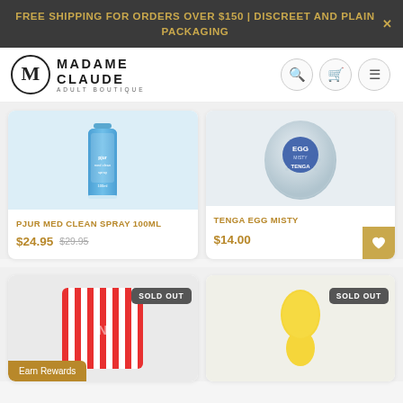FREE SHIPPING FOR ORDERS OVER $150 | DISCREET AND PLAIN PACKAGING
[Figure (logo): Madame Claude Adult Boutique logo with stylized M icon]
[Figure (photo): Pjur Med Clean Spray 100ml blue bottle product photo]
PJUR MED CLEAN SPRAY 100ML
$24.95  $29.95
[Figure (photo): Tenga Egg Misty product photo - white egg-shaped package with blue logo]
TENGA EGG MISTY
$14.00
[Figure (photo): Sold out product with red and white striped packaging, SOLD OUT badge]
[Figure (photo): Sold out yellow toy product, SOLD OUT badge]